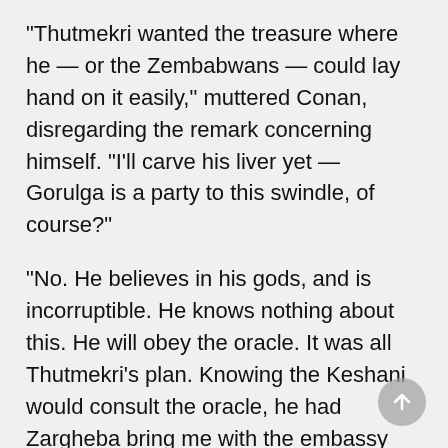"Thutmekri wanted the treasure where he — or the Zembabwans — could lay hand on it easily," muttered Conan, disregarding the remark concerning himself. "I'll carve his liver yet — Gorulga is a party to this swindle, of course?"
"No. He believes in his gods, and is incorruptible. He knows nothing about this. He will obey the oracle. It was all Thutmekri's plan. Knowing the Keshani would consult the oracle, he had Zargheba bring me with the embassy from Zembabwei, closely veiled and secluded."
"Well, I'm damned!" muttered Conan. "A priest who honestly believes in his oracle, and can not be bribed. Crom! I wonder if it